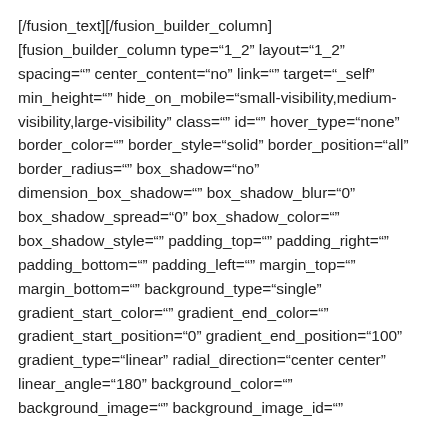[/fusion_text][/fusion_builder_column] [fusion_builder_column type="1_2" layout="1_2" spacing="" center_content="no" link="" target="_self" min_height="" hide_on_mobile="small-visibility,medium-visibility,large-visibility" class="" id="" hover_type="none" border_color="" border_style="solid" border_position="all" border_radius="" box_shadow="no" dimension_box_shadow="" box_shadow_blur="0" box_shadow_spread="0" box_shadow_color="" box_shadow_style="" padding_top="" padding_right="" padding_bottom="" padding_left="" margin_top="" margin_bottom="" background_type="single" gradient_start_color="" gradient_end_color="" gradient_start_position="0" gradient_end_position="100" gradient_type="linear" radial_direction="center center" linear_angle="180" background_color="" background_image="" background_image_id=""